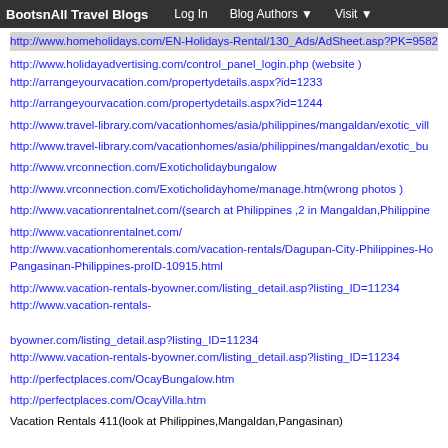BootsnAll Travel Blogs   Log In   Blog Authors   Visit
http://www.homeholidays.com/EN-Holidays-Rental/130_Ads/AdSheet.asp?PK=9582...
http://www.holidayadvertising.com/control_panel_login.php (website )
http://arrangeyourvacation.com/propertydetails.aspx?id=1233
http://arrangeyourvacation.com/propertydetails.aspx?id=1244
http://www.travel-library.com/vacationhomes/asia/philippines/mangaldan/exotic_vill...
http://www.travel-library.com/vacationhomes/asia/philippines/mangaldan/exotic_bu...
http://www.vrconnection.com/Exoticholidaybungalow
http://www.vrconnection.com/Exoticholidayhome/manage.htm(wrong photos )
http://www.vacationrentalnet.com/(search at Philippines ,2 in Mangaldan,Philippine...
http://www.vacationrentalnet.com/
http://www.vacationhomerentals.com/vacation-rentals/Dagupan-City-Philippines-Ho...Pangasinan-Philippines-proID-10915.html
http://www.vacation-rentals-byowner.com/listing_detail.asp?listing_ID=11234
http://www.vacation-rentals-
byowner.com/listing_detail.asp?listing_ID=11234
http://www.vacation-rentals-byowner.com/listing_detail.asp?listing_ID=11234
http://perfectplaces.com/OcayBungalow.htm
http://perfectplaces.com/OcayVilla.htm
Vacation Rentals 411(look at Philippines,Mangaldan,Pangasinan)